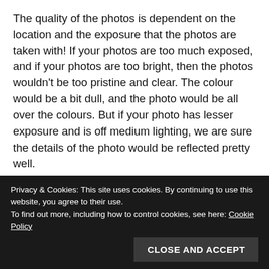The quality of the photos is dependent on the location and the exposure that the photos are taken with! If your photos are too much exposed, and if your photos are too bright, then the photos wouldn't be too pristine and clear. The colour would be a bit dull, and the photo would be all over the colours. But if your photo has lesser exposure and is off medium lighting, we are sure the details of the photo would be reflected pretty well.
If you aren't looking for exhibition or art museum quality pictures, and if you are looking for a cool gadget to toy with while you are at a party, then this should be fun for you. But, if you are indeed looking for a printer that prints high quality photos, then this HP product wouldn't meet your need, for the
Privacy & Cookies: This site uses cookies. By continuing to use this website, you agree to their use.
To find out more, including how to control cookies, see here: Cookie Policy
CLOSE AND ACCEPT